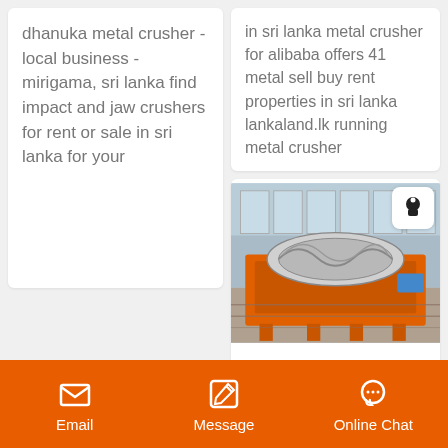dhanuka metal crusher - local business - mirigama, sri lanka find impact and jaw crushers for rent or sale in sri lanka for your
in sri lanka metal crusher for alibaba offers 41 metal sell buy rent properties in sri lanka lankaland.lk running metal crusher
[Figure (photo): Orange industrial metal crusher / spiral separator machine outdoors in front of a building with large windows]
Sri Lanka Telecom Rainbowpages
Email   Message   Online Chat